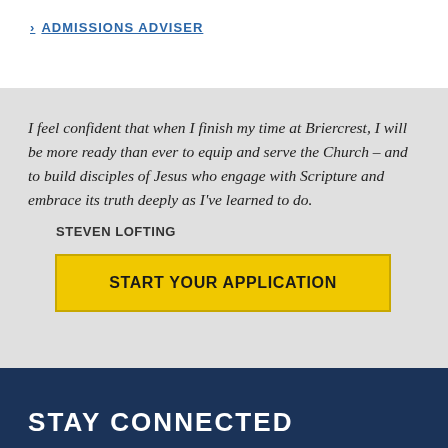> ADMISSIONS ADVISER
I feel confident that when I finish my time at Briercrest, I will be more ready than ever to equip and serve the Church – and to build disciples of Jesus who engage with Scripture and embrace its truth deeply as I've learned to do.
STEVEN LOFTING
START YOUR APPLICATION
STAY CONNECTED